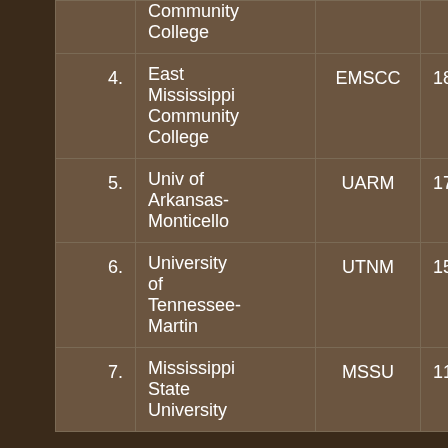| # | Name | Abbr | Value |
| --- | --- | --- | --- |
|  | Community College |  |  |
| 4. | East Mississippi Community College | EMSCC | 180.00 |
| 5. | Univ of Arkansas-Monticello | UARM | 170.00 |
| 6. | University of Tennessee-Martin | UTNM | 150.00 |
| 7. | Mississippi State University | MSSU | 110.00 |